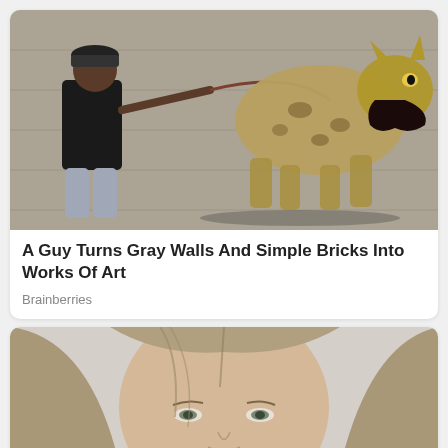[Figure (photo): A man in a black hoodie and cap pulling on a leash attached to a large hyena street art mural painted on a gray concrete wall]
A Guy Turns Gray Walls And Simple Bricks Into Works Of Art
Brainberries
[Figure (photo): Close-up portrait of a young woman with long straight blonde-brown hair and green eyes, light background]